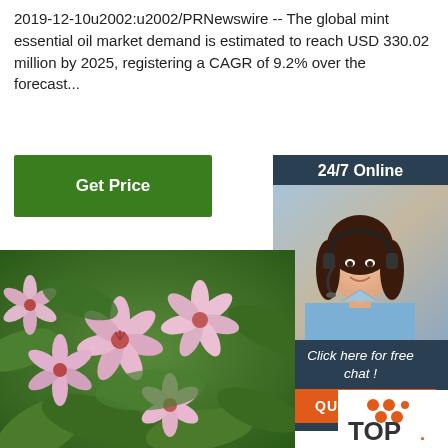2019-12-10u2002:u2002/PRNewswire -- The global mint essential oil market demand is estimated to reach USD 330.02 million by 2025, registering a CAGR of 9.2% over the forecast...
[Figure (other): Green 'Get Price' button]
[Figure (other): 24/7 Online chat widget with photo of woman with headset, 'Click here for free chat!' text, and orange QUOTATION button]
[Figure (photo): Close-up photo of pink flowers with green leaves (mint plant flowers)]
[Figure (logo): TOP logo with orange dots]